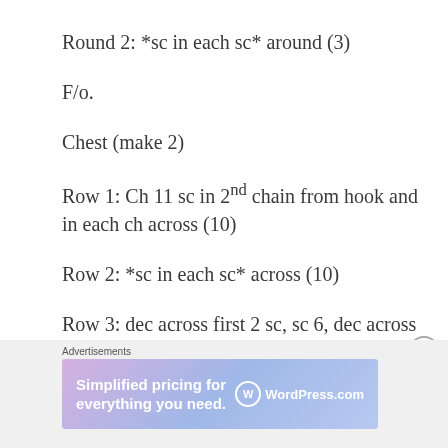Round 2: *sc in each sc* around (3)
F/o.
Chest (make 2)
Row 1: Ch 11 sc in 2nd chain from hook and in each ch across (10)
Row 2: *sc in each sc* across (10)
Row 3: dec across first 2 sc, sc 6, dec across next 2 sc (8)
Advertisements
[Figure (infographic): WordPress.com advertisement banner: 'Simplified pricing for everything you need.']